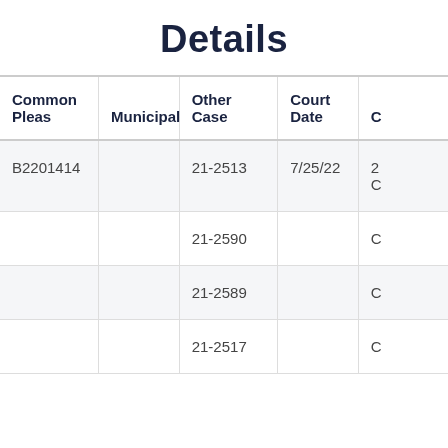Details
| Common Pleas | Municipal | Other Case | Court Date | C |
| --- | --- | --- | --- | --- |
| B2201414 |  | 21-2513 | 7/25/22 | 2
C |
|  |  | 21-2590 |  | C |
|  |  | 21-2589 |  | C |
|  |  | 21-2517 |  | C |